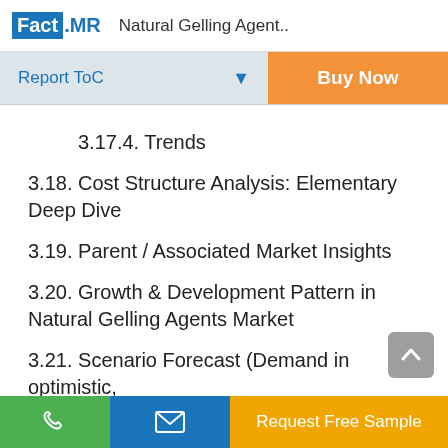Fact.MR  Natural Gelling Agent..
Report ToC   Buy Now
3.17.4. Trends
3.18. Cost Structure Analysis: Elementary Deep Dive
3.19. Parent / Associated Market Insights
3.20. Growth & Development Pattern in Natural Gelling Agents Market
3.21. Scenario Forecast (Demand in optimistic,
Request Free Sample